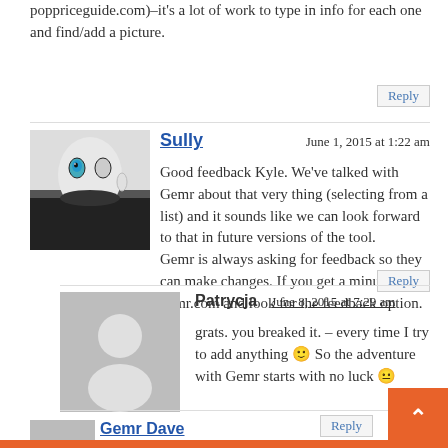poppriceguide.com)–it's a lot of work to type in info for each one and find/add a picture.
Reply
Sully  June 1, 2015 at 1:22 am
Good feedback Kyle. We've talked with Gemr about that very thing (selecting from a list) and it sounds like we can look forward to that in future versions of the tool.
Gemr is always asking for feedback so they can make changes. If you get a minute, visit gemr.com and look for the feedback option.
Reply
Patrycja  June 8, 2015 at 7:29 am
grats. you breaked it. – every time I try to add anything 🙂 So the adventure with Gemr starts with no luck 😐
Reply
Gemr Dave